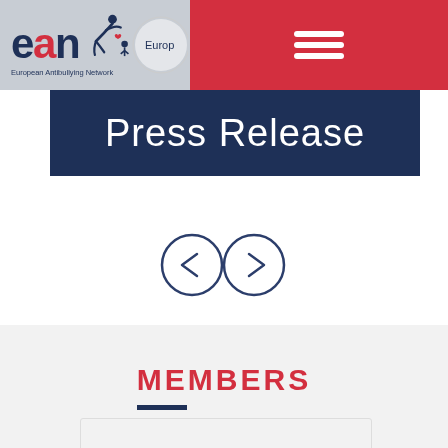[Figure (logo): EAN European Antibullying Network logo with figure icon and circular Europe logo]
[Figure (other): Red hamburger menu icon (three horizontal lines) on red background]
Press Release
[Figure (other): Left and right navigation arrow circles for slideshow]
MEMBERS
[Figure (other): Partial white card preview at bottom of page]